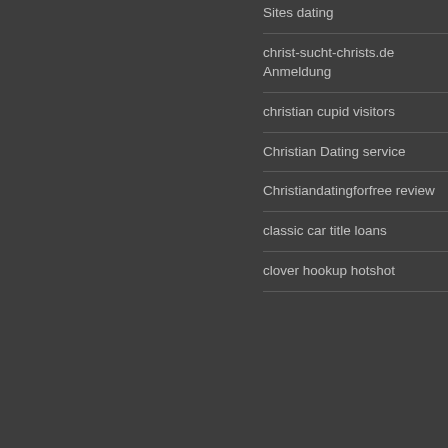Sites dating
christ-sucht-christs.de Anmeldung
christian cupid visitors
Christian Dating service
Christiandatingforfree review
classic car title loans
clover hookup hotshot